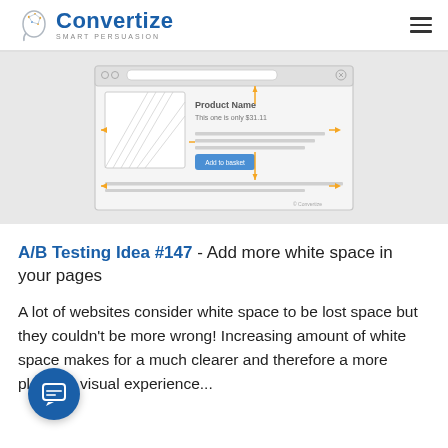Convertize SMART PERSUASION
[Figure (screenshot): Wireframe of a product page showing white space measurement annotations with orange arrows, product image placeholder, product name, price, description lines, and Add to basket button.]
A/B Testing Idea #147 - Add more white space in your pages
A lot of websites consider white space to be lost space but they couldn't be more wrong! Increasing amount of white space makes for a much clearer and therefore a more pleasing visual experience...